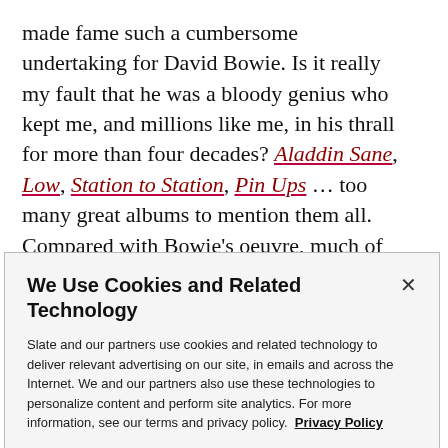made fame such a cumbersome undertaking for David Bowie. Is it really my fault that he was a bloody genius who kept me, and millions like me, in his thrall for more than four decades? Aladdin Sane, Low, Station to Station, Pin Ups … too many great albums to mention them all. Compared with Bowie's oeuvre, much of today's costumed schlock-pop sounds to me like a bunch of hastily assembled clichés from the Eurovision Song
We Use Cookies and Related Technology
Slate and our partners use cookies and related technology to deliver relevant advertising on our site, in emails and across the Internet. We and our partners also use these technologies to personalize content and perform site analytics. For more information, see our terms and privacy policy. Privacy Policy